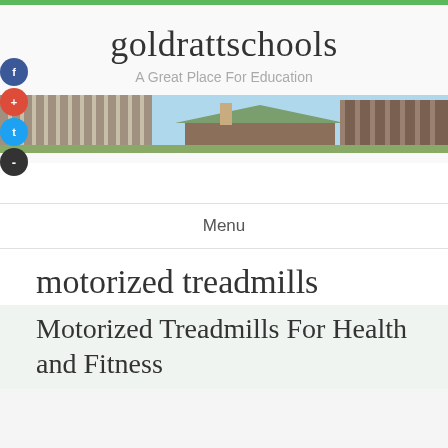goldrattschools
A Great Place For Education
[Figure (photo): Banner photo of school buildings with brick and green roof structures under blue sky]
Menu
motorized treadmills
Motorized Treadmills For Health and Fitness